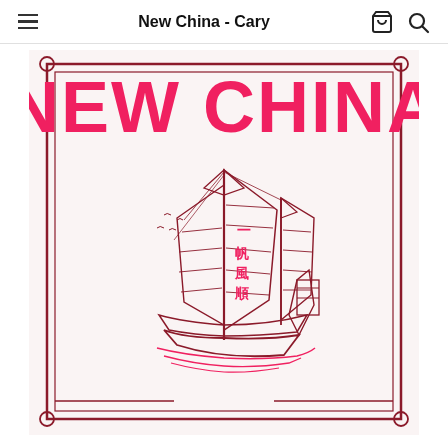New China - Cary
[Figure (logo): New China restaurant logo featuring bold pink 'NEW CHINA' text at top and a detailed line drawing of a Chinese junk sailing ship in dark red/maroon, with Chinese characters on the sails, decorative corner elements, and a rectangular border frame on a light pink/white background.]